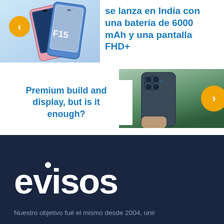[Figure (photo): Carousel slide 1: Samsung Galaxy F15 smartphones displayed with back and front view, pink/blue gradient background. Navigation left arrow button in gold/orange circle. Text overlay: 'se lanza en India con una batería de 6000 mAh y una pantalla FHD+']
se lanza en India con una batería de 6000 mAh y una pantalla FHD+
[Figure (photo): Carousel slide 2: Samsung phone held showing back camera array, dark green color, outdoor setting. Navigation right arrow button in gold/orange circle. Text overlay: 'Premium build and display, but is it enough?']
Premium build and display, but is it enough?
[Figure (logo): evisos logo in white on dark navy background]
Nuestro objetivo fué el mismo desde 2004, unir